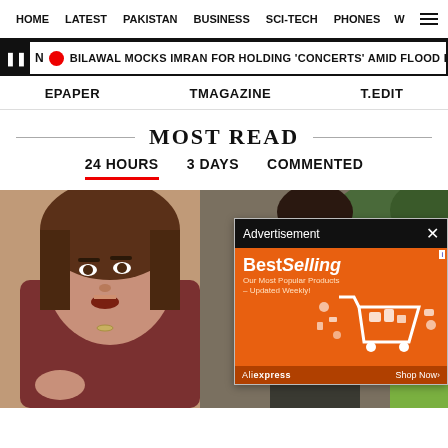HOME  LATEST  PAKISTAN  BUSINESS  SCI-TECH  PHONES  W
BILAWAL MOCKS IMRAN FOR HOLDING 'CONCERTS' AMID FLOOD DEVASTATION
EPAPER  TMAGAZINE  T.EDIT
MOST READ
24 HOURS  3 DAYS  COMMENTED
[Figure (photo): Woman speaking outdoors, with people in background, overlaid by an AliExpress advertisement popup showing 'BestSelling' products]